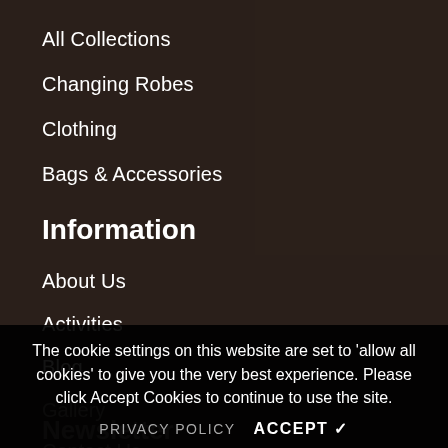All Collections
Changing Robes
Clothing
Bags & Accessories
Information
About Us
Activities
Blog
Gallery
Contact Us
Delivery
The cookie settings on this website are set to 'allow all cookies' to give you the very best experience. Please click Accept Cookies to continue to use the site.
Newsletter